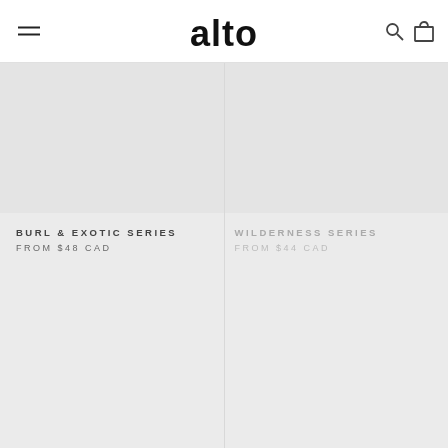alto
BURL & EXOTIC SERIES
FROM $48 CAD
WILDERNESS SERIES
FROM $44 CAD